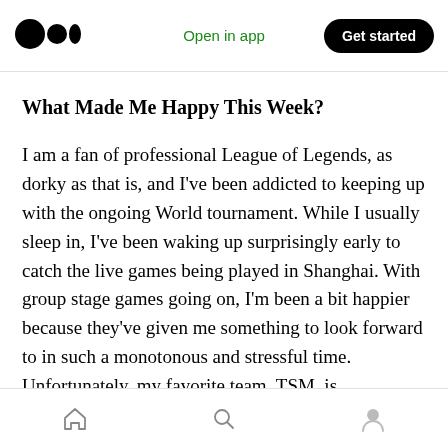Open in app | Get started
What Made Me Happy This Week?
I am a fan of professional League of Legends, as dorky as that is, and I've been addicted to keeping up with the ongoing World tournament. While I usually sleep in, I've been waking up surprisingly early to catch the live games being played in Shanghai. With group stage games going on, I'm been a bit happier because they've given me something to look forward to in such a monotonous and stressful time. Unfortunately, my favorite team, TSM, is completely choking in
Home | Search | Profile